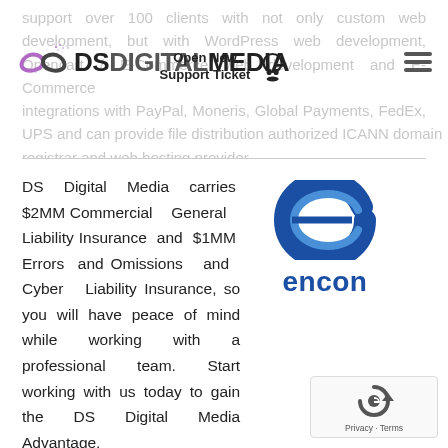support over 100 clients with not only custom web development, but with WordPress web development, Opencart / E-Commerce web development and E-Commerce integrations with PayPal, Moneris, Global Payments, FedEx, UPS and can provide file distribution authorized ICANN domain registrar and web hosting provider.
[Figure (logo): DS Digital Media logo with infinity symbol and navigation bar including Open New Support Ticket button and hamburger menu]
DS Digital Media carries $2MM Commercial General Liability Insurance and $1MM Errors and Omissions and Cyber Liability Insurance, so you will have peace of mind while working with a professional team. Start working with us today to gain the DS Digital Media Advantage.
[Figure (logo): Encon insurance company logo: blue stylized 'e' arc shape with 'encon' text in dark blue below]
[Figure (logo): Google reCAPTCHA badge with circular arrow icon and Privacy / Terms links]